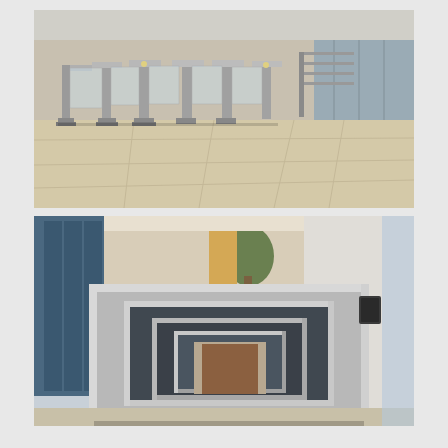[Figure (photo): Interior lobby with multiple stainless steel security turnstile gates aligned in a row on a beige stone floor. Background shows glass partitions and a modern building interior.]
[Figure (photo): Close-up of a large stainless steel security portal/mantrap door frame with mirror-like polished finish, installed in a modern building lobby with glass walls and columns visible in background.]